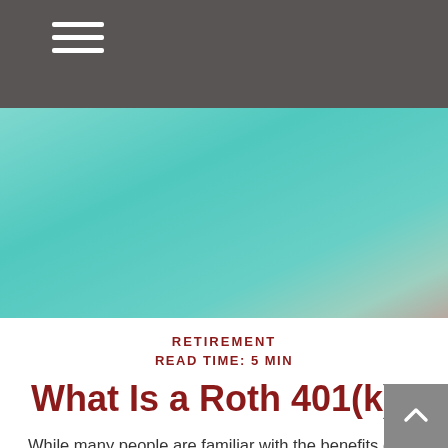☰ (menu icon)
[Figure (photo): Teal/mint colored abstract background image, hero banner area]
RETIREMENT
READ TIME: 5 MIN
What Is a Roth 401(k)?
While many people are familiar with the benefits of traditional 401(k) plans, others are not as acquainted with Roth 401(k)s.